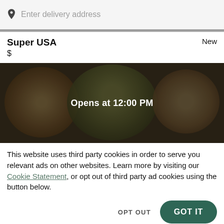Enter delivery address
Super USA
New
$
[Figure (photo): Overhead view of food dishes on a table with a dark overlay, showing plates with fries, sandwiches, and other food items. Text overlay reads 'Opens at 12:00 PM'.]
This website uses third party cookies in order to serve you relevant ads on other websites. Learn more by visiting our Cookie Statement, or opt out of third party ad cookies using the button below.
OPT OUT
GOT IT